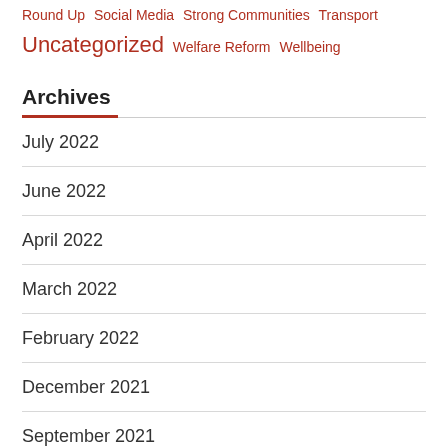Round Up  Social Media  Strong Communities  Transport  Uncategorized  Welfare Reform  Wellbeing
Archives
July 2022
June 2022
April 2022
March 2022
February 2022
December 2021
September 2021